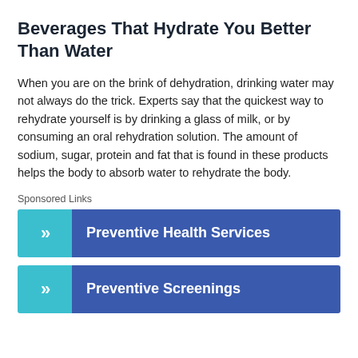Beverages That Hydrate You Better Than Water
When you are on the brink of dehydration, drinking water may not always do the trick. Experts say that the quickest way to rehydrate yourself is by drinking a glass of milk, or by consuming an oral rehydration solution. The amount of sodium, sugar, protein and fat that is found in these products helps the body to absorb water to rehydrate the body.
Sponsored Links
[Figure (infographic): Sponsored link banner: cyan arrow icon on left, blue background with text 'Preventive Health Services' on right]
[Figure (infographic): Sponsored link banner: cyan arrow icon on left, blue background with text 'Preventive Screenings' on right]